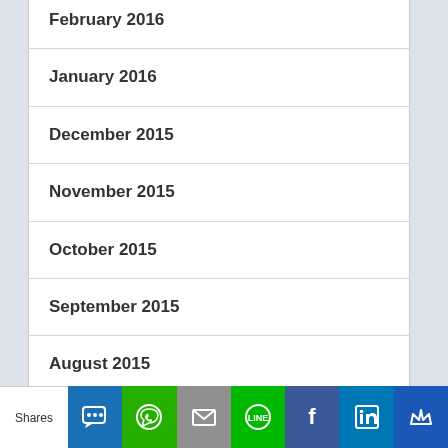February 2016
January 2016
December 2015
November 2015
October 2015
September 2015
August 2015
July 2015
June 2015
Shares | SMS | WhatsApp | Email | LINE | Facebook | LinkedIn | Crown